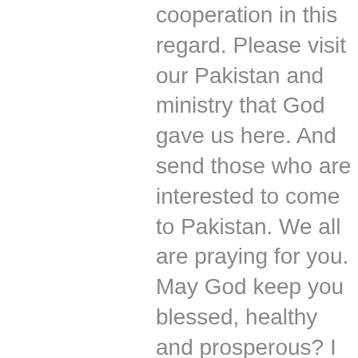cooperation in this regard. Please visit our Pakistan and ministry that God gave us here. And send those who are interested to come to Pakistan. We all are praying for you. May God keep you blessed, healthy and prosperous? I would love to hear